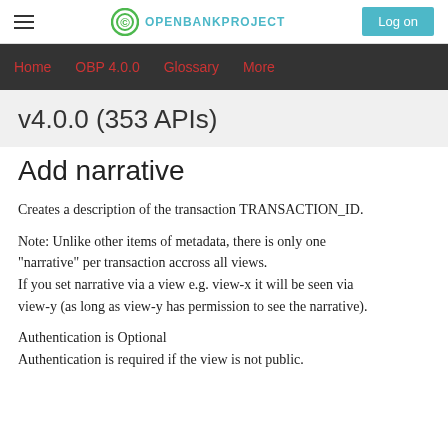OPENBANKPROJECT | Log on
Home | OBP 4.0.0 | Glossary | More
v4.0.0 (353 APIs)
Add narrative
Creates a description of the transaction TRANSACTION_ID.
Note: Unlike other items of metadata, there is only one "narrative" per transaction accross all views.
If you set narrative via a view e.g. view-x it will be seen via view-y (as long as view-y has permission to see the narrative).
Authentication is Optional
Authentication is required if the view is not public.